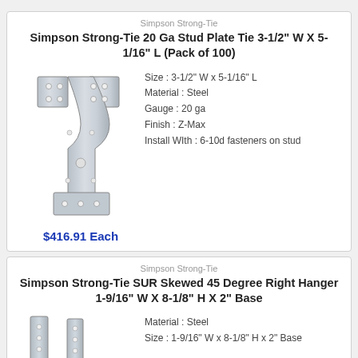Simpson Strong-Tie
Simpson Strong-Tie 20 Ga Stud Plate Tie 3-1/2" W X 5-1/16" L (Pack of 100)
[Figure (photo): Steel stud plate tie bracket, galvanized, with mounting holes]
Size : 3-1/2" W x 5-1/16" L
Material : Steel
Gauge : 20 ga
Finish : Z-Max
Install WIth : 6-10d fasteners on stud
$416.91 Each
Simpson Strong-Tie
Simpson Strong-Tie SUR Skewed 45 Degree Right Hanger 1-9/16" W X 8-1/8" H X 2" Base
[Figure (photo): Two steel skewed right hangers, galvanized metal brackets]
Material : Steel
Size : 1-9/16" W x 8-1/8" H x 2" Base